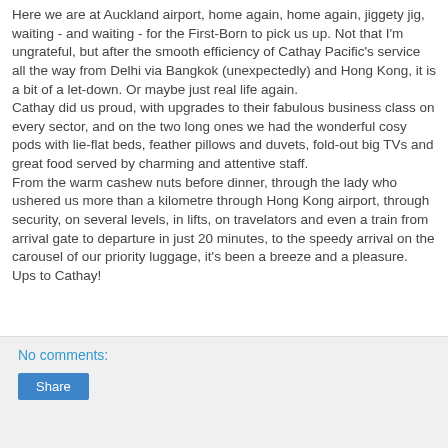Here we are at Auckland airport, home again, home again, jiggety jig, waiting - and waiting - for the First-Born to pick us up. Not that I'm ungrateful, but after the smooth efficiency of Cathay Pacific's service all the way from Delhi via Bangkok (unexpectedly) and Hong Kong, it is a bit of a let-down. Or maybe just real life again.
Cathay did us proud, with upgrades to their fabulous business class on every sector, and on the two long ones we had the wonderful cosy pods with lie-flat beds, feather pillows and duvets, fold-out big TVs and great food served by charming and attentive staff.
From the warm cashew nuts before dinner, through the lady who ushered us more than a kilometre through Hong Kong airport, through security, on several levels, in lifts, on travelators and even a train from arrival gate to departure in just 20 minutes, to the speedy arrival on the carousel of our priority luggage, it's been a breeze and a pleasure.
Ups to Cathay!
No comments: